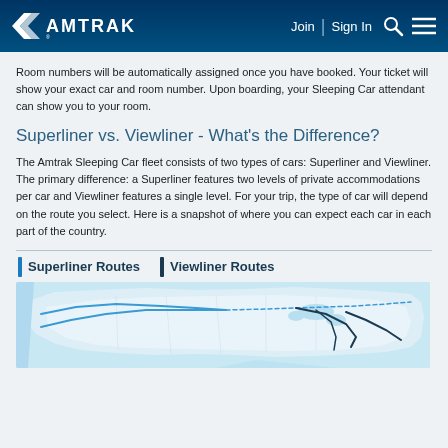Amtrak - Join | Sign In
Room numbers will be automatically assigned once you have booked. Your ticket will show your exact car and room number. Upon boarding, your Sleeping Car attendant can show you to your room.
Superliner vs. Viewliner - What's the Difference?
The Amtrak Sleeping Car fleet consists of two types of cars: Superliner and Viewliner. The primary difference: a Superliner features two levels of private accommodations per car and Viewliner features a single level. For your trip, the type of car will depend on the route you select. Here is a snapshot of where you can expect each car in each part of the country.
Superliner Routes | Viewliner Routes
[Figure (map): Map of the United States showing Superliner and Viewliner train routes across the country, with blue lines indicating routes.]